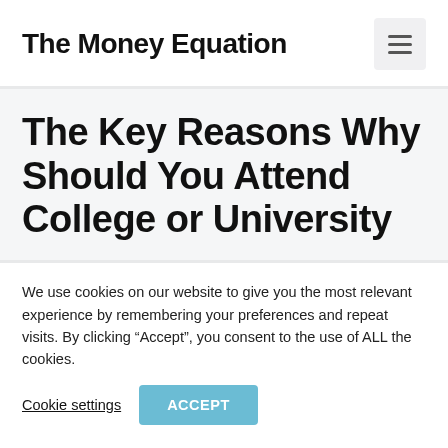The Money Equation
The Key Reasons Why Should You Attend College or University
We use cookies on our website to give you the most relevant experience by remembering your preferences and repeat visits. By clicking “Accept”, you consent to the use of ALL the cookies.
Cookie settings  ACCEPT